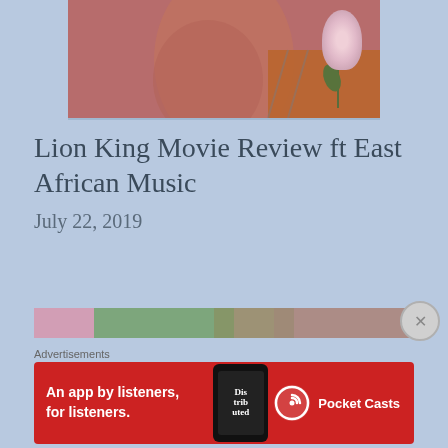[Figure (photo): Cropped photo of a person holding a white rose, with warm reddish-brown skin tones and an orange patterned fabric visible]
Lion King Movie Review ft East African Music
July 22, 2019
[Figure (photo): Partial view of another image at the bottom of the article]
Advertisements
[Figure (infographic): Pocket Casts advertisement banner: 'An app by listeners, for listeners.' on red background with phone mockup showing 'Distributed' book cover and Pocket Casts logo]